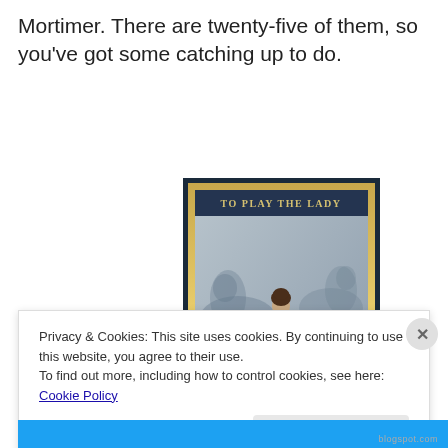Mortimer. There are twenty-five of them, so you've got some catching up to do.
[Figure (illustration): Book cover titled 'TO PLAY THE LADY' showing a woman in a period dress viewed from behind, with horses in the background]
Privacy & Cookies: This site uses cookies. By continuing to use this website, you agree to their use.
To find out more, including how to control cookies, see here: Cookie Policy
Close and accept